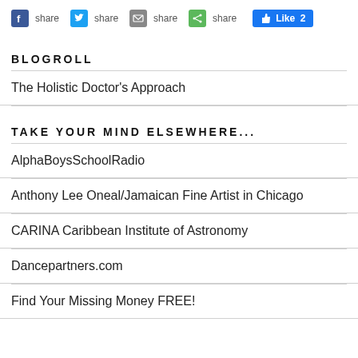[Figure (screenshot): Social share buttons (Facebook, Twitter, Email, ShareThis) and a Like button showing count of 2]
BLOGROLL
The Holistic Doctor's Approach
TAKE YOUR MIND ELSEWHERE...
AlphaBoysSchoolRadio
Anthony Lee Oneal/Jamaican Fine Artist in Chicago
CARINA Caribbean Institute of Astronomy
Dancepartners.com
Find Your Missing Money FREE!